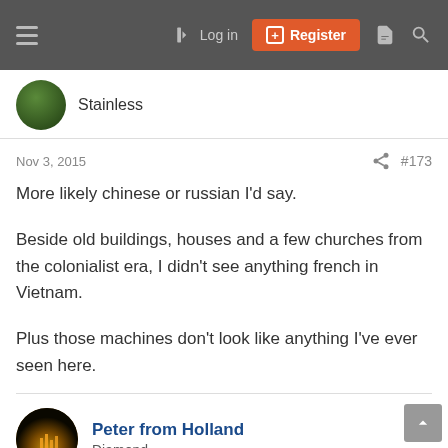Log in | Register
Stainless
Nov 3, 2015  #173
More likely chinese or russian I'd say.

Beside old buildings, houses and a few churches from the colonialist era, I didn't see anything french in Vietnam.

Plus those machines don't look like anything I've ever seen here.
Peter from Holland
Diamond